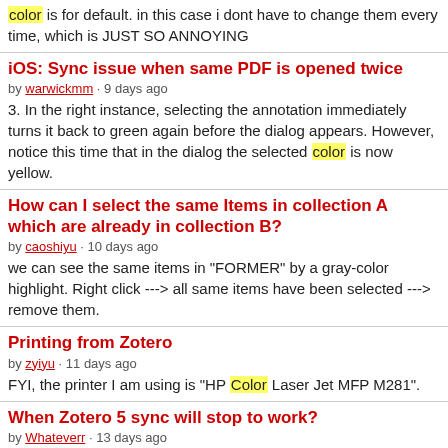color is for default. in this case i dont have to change them every time, which is JUST SO ANNOYING
iOS: Sync issue when same PDF is opened twice
by warwickmm · 9 days ago
3. In the right instance, selecting the annotation immediately turns it back to green again before the dialog appears. However, notice this time that in the dialog the selected color is now yellow.
How can I select the same Items in collection A which are already in collection B?
by caoshiyu · 10 days ago
we can see the same items in "FORMER" by a gray-color highlight. Right click ---> all same items have been selected ---> remove them.
Printing from Zotero
by zyiyu · 11 days ago
FYI, the printer I am using is "HP Color Laser Jet MFP M281".
When Zotero 5 sync will stop to work?
by Whateverr · 13 days ago
- highlighting color for text